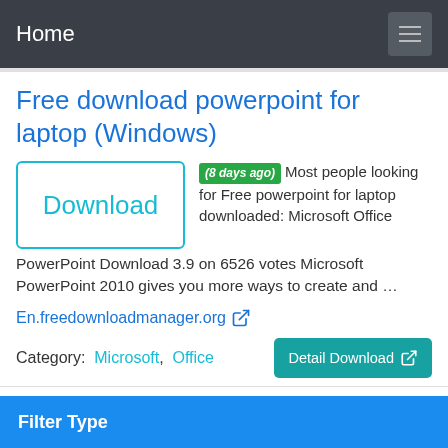Home
Free download powerpoint for laptop (Windows)
(8 days ago) Most people looking for Free powerpoint for laptop downloaded: Microsoft Office PowerPoint Download 3.9 on 6526 votes Microsoft PowerPoint 2010 gives you more ways to create and ...
En.freedownloadmanager.org
Category: Microsoft, Office
Filter Type: All Software File PDF
Filter Type